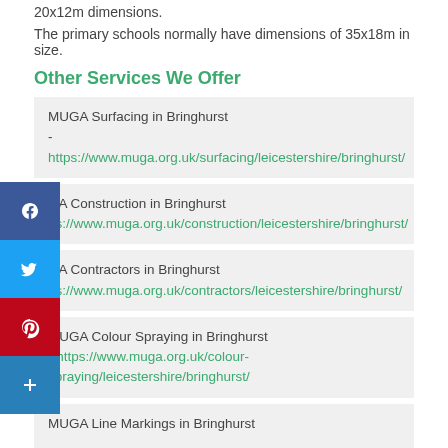20x12m dimensions.
The primary schools normally have dimensions of 35x18m in size.
Other Services We Offer
MUGA Surfacing in Bringhurst - https://www.muga.org.uk/surfacing/leicestershire/bringhurst/
GA Construction in Bringhurst - https://www.muga.org.uk/construction/leicestershire/bringhurst/
GA Contractors in Bringhurst - https://www.muga.org.uk/contractors/leicestershire/bringhurst/
MUGA Colour Spraying in Bringhurst - https://www.muga.org.uk/colour-spraying/leicestershire/bringhurst/
MUGA Line Markings in Bringhurst